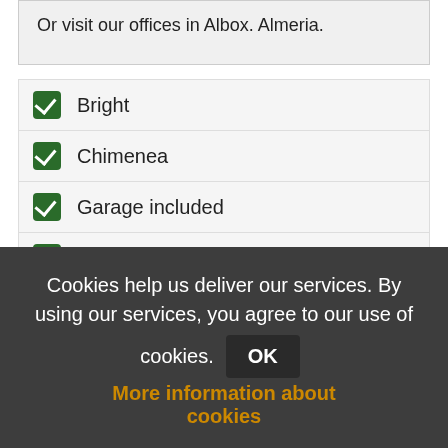Or visit our offices in Albox. Almeria.
Bright
Chimenea
Garage included
Parking included
Terrace
Cookies help us deliver our services. By using our services, you agree to our use of cookies. OK More information about cookies